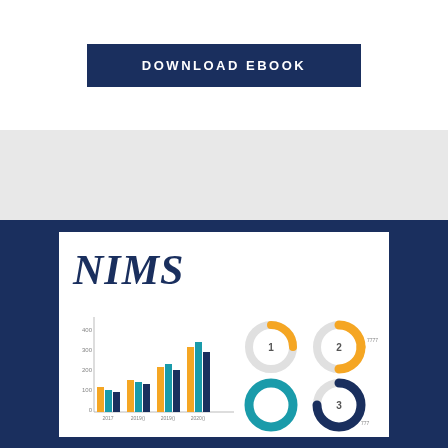DOWNLOAD EBOOK
[Figure (illustration): Grey spacer section]
[Figure (illustration): NIMS ebook cover thumbnail showing bar chart and donut/pie charts on a white card with navy blue border background. Title reads NIMS in large bold italic serif font.]